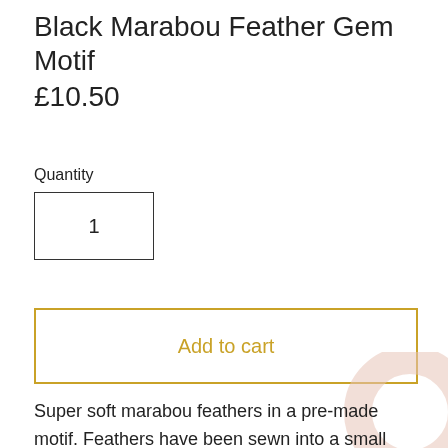Black Marabou Feather Gem Motif
£10.50
Quantity
1
Add to cart
Super soft marabou feathers in a pre-made motif. Feathers have been sewn into a small piece of mesh and three bright gems have been attached at the top. Can easily be attached onto fabric. Perfect for accessories and interior decoration as well as garments. We would love this as part of a Bridgerton inspired headpiece! All our trim is deadstock left